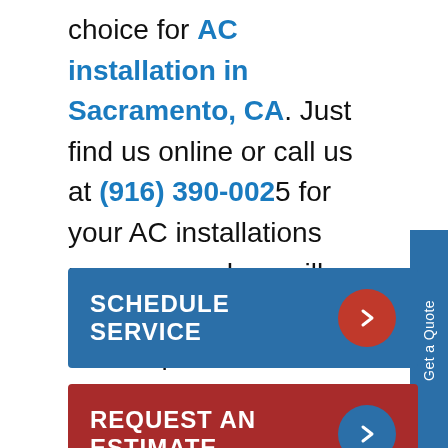choice for AC installation in Sacramento, CA. Just find us online or call us at (916) 390-0025 for your AC installations near me, and we will soon be at your doorstep!
[Figure (other): Blue vertical side tab with white rotated text 'Get a Quote']
[Figure (other): Blue button labeled SCHEDULE SERVICE with red circle arrow icon on right]
[Figure (other): Red button labeled REQUEST AN ESTIMATE with blue circle arrow icon on right]